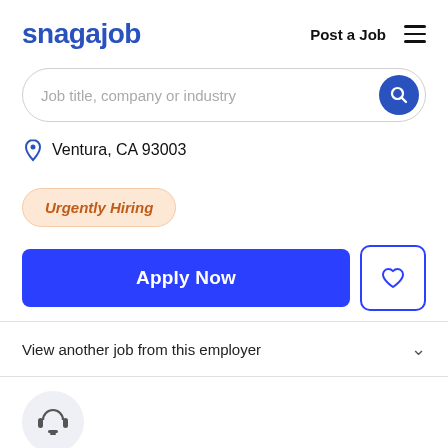snagajob  Post a Job  ☰
Job title, company or industry
Ventura, CA 93003
Urgently Hiring
Apply Now
View another job from this employer
[Figure (illustration): Headset/customer service icon in a light gray circle]